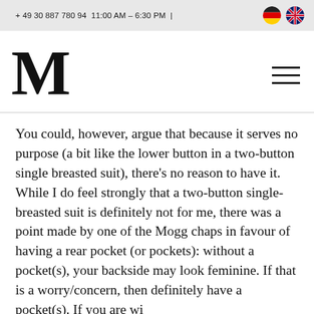+ 49 30 887 780 94  11:00 AM – 6:30 PM  |
M
You could, however, argue that because it serves no purpose (a bit like the lower button in a two-button single breasted suit), there's no reason to have it. While I do feel strongly that a two-button single-breasted suit is definitely not for me, there was a point made by one of the Mogg chaps in favour of having a rear pocket (or pockets): without a pocket(s), your backside may look feminine. If that is a worry/concern, then definitely have a pocket (or pockets). If you are wide